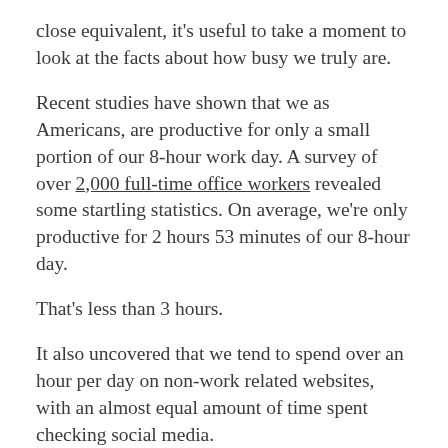close equivalent, it's useful to take a moment to look at the facts about how busy we truly are.
Recent studies have shown that we as Americans, are productive for only a small portion of our 8-hour work day. A survey of over 2,000 full-time office workers revealed some startling statistics. On average, we're only productive for 2 hours 53 minutes of our 8-hour day.
That's less than 3 hours.
It also uncovered that we tend to spend over an hour per day on non-work related websites, with an almost equal amount of time spent checking social media.
When you add in having chats with coworkers, taking smoke breaks, making and eating snacks,